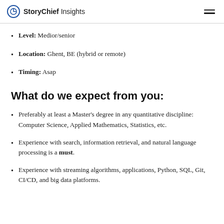StoryChief Insights
Level: Medior/senior
Location: Ghent, BE (hybrid or remote)
Timing: Asap
What do we expect from you:
Preferably at least a Master's degree in any quantitative discipline: Computer Science, Applied Mathematics, Statistics, etc.
Experience with search, information retrieval, and natural language processing is a must.
Experience with streaming algorithms, applications, Python, SQL, Git, CI/CD, and big data platforms.